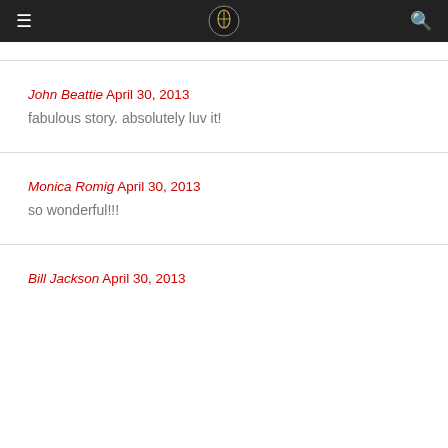[logo] [hamburger menu] [search icon]
John Beattie April 30, 2013
fabulous story. absolutely luv it!
Monica Romig April 30, 2013
so wonderful!!!
Bill Jackson April 30, 2013